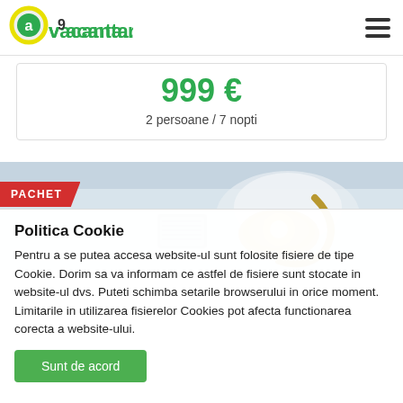vacanta.ro
999 €
2 persoane / 7 nopti
[Figure (photo): Hotel room ceiling with decorative crystal chandelier and air conditioning unit, with a red PACHET label overlay]
Politica Cookie
Pentru a se putea accesa website-ul sunt folosite fisiere de tipe Cookie. Dorim sa va informam ce astfel de fisiere sunt stocate in website-ul dvs. Puteti schimba setarile browserului in orice moment. Limitarile in utilizarea fisierelor Cookies pot afecta functionarea corecta a website-ului.
Sunt de acord